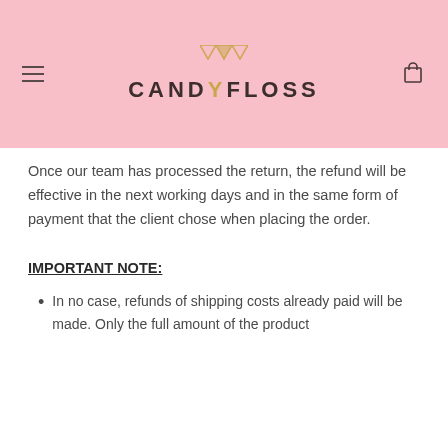CANDYFLOSS
Once our team has processed the return, the refund will be effective in the next working days and in the same form of payment that the client chose when placing the order.
IMPORTANT NOTE:
In no case, refunds of shipping costs already paid will be made. Only the full amount of the product